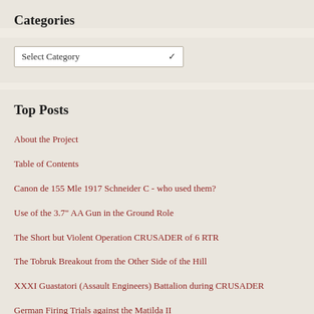Categories
[Figure (screenshot): Dropdown selector showing 'Select Category' with a chevron arrow]
Top Posts
About the Project
Table of Contents
Canon de 155 Mle 1917 Schneider C - who used them?
Use of the 3.7" AA Gun in the Ground Role
The Short but Violent Operation CRUSADER of 6 RTR
The Tobruk Breakout from the Other Side of the Hill
XXXI Guastatori (Assault Engineers) Battalion during CRUSADER
German Firing Trials against the Matilda II
Sinking of HM Submarine P.38 - 23 February 1942